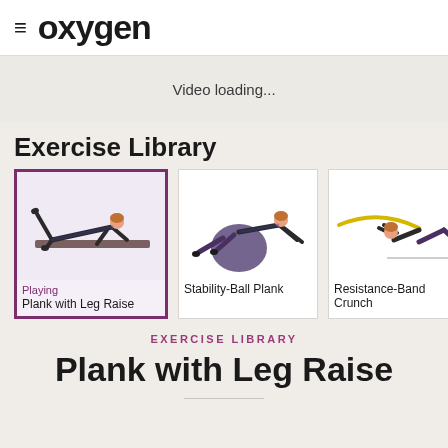≡ oxygen
Video loading...
Exercise Library
[Figure (illustration): Woman doing plank with leg raise on a mat, purple background, selected card with purple border]
[Figure (illustration): Woman doing stability-ball plank on a stability ball]
[Figure (illustration): Woman doing resistance-band crunch exercise]
Playing
Plank with Leg Raise
Stability-Ball Plank
Resistance-Band Crunch
EXERCISE LIBRARY
Plank with Leg Raise